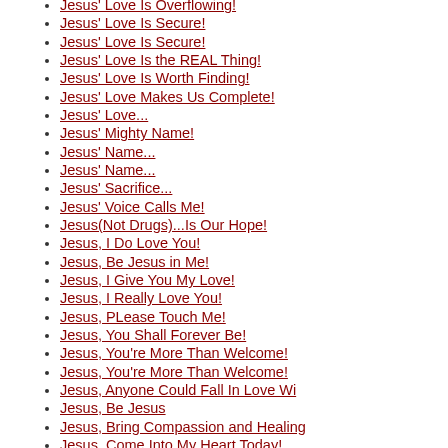Jesus' Love Is Overflowing!
Jesus' Love Is Secure!
Jesus' Love Is Secure!
Jesus' Love Is the REAL Thing!
Jesus' Love Is Worth Finding!
Jesus' Love Makes Us Complete!
Jesus' Love...
Jesus' Mighty Name!
Jesus' Name...
Jesus' Name...
Jesus' Sacrifice...
Jesus' Voice Calls Me!
Jesus(Not Drugs)...Is Our Hope!
Jesus, I Do Love You!
Jesus, Be Jesus in Me!
Jesus, I Give You My Love!
Jesus, I Really Love You!
Jesus, PLease Touch Me!
Jesus, You Shall Forever Be!
Jesus, You're More Than Welcome!
Jesus, You're More Than Welcome!
Jesus, Anyone Could Fall In Love Wi
Jesus, Be Jesus
Jesus, Bring Compassion and Healing
Jesus, Come Into My Heart Today!
Jesus, Give Me The Words to Say!
Jesus, Have I Really Given You Ever
Jesus, Have Your Own Way!
Jesus, Have Your Way in Me!
Jesus, Have Your Way In Me!
Jesus, Have Your Way in Me!